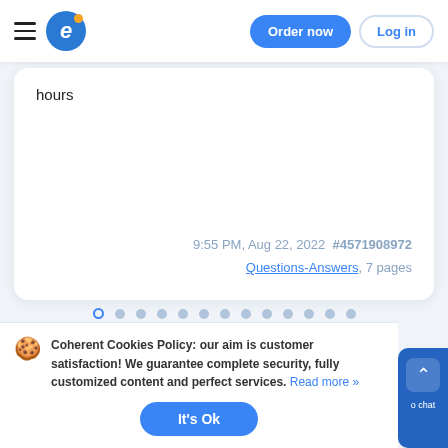Order now  Log in
hours
9:55 PM, Aug 22, 2022  #4571908972
Questions-Answers, 7 pages
[Figure (other): Carousel pagination dots row, 13 dots, first one active (outlined blue), rest filled light gray]
Coherent Cookies Policy: our aim is customer satisfaction! We guarantee complete security, fully customized content and perfect services. Read more »
It's Ok